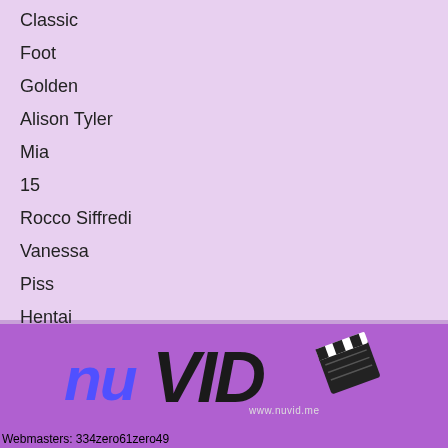Classic
Foot
Golden
Alison Tyler
Mia
15
Rocco Siffredi
Vanessa
Piss
Hentai
[Figure (logo): nuVID logo with clapperboard and text www.nuvid.me on purple background]
Webmasters: 334zero61zero49